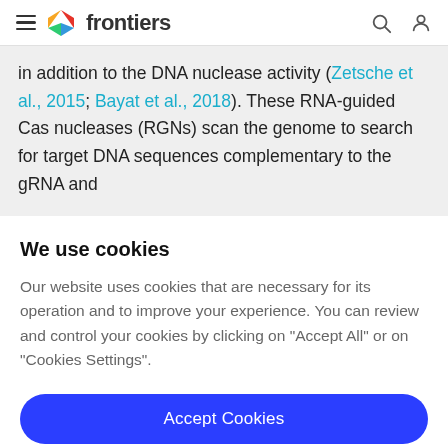frontiers
in addition to the DNA nuclease activity (Zetsche et al., 2015; Bayat et al., 2018). These RNA-guided Cas nucleases (RGNs) scan the genome to search for target DNA sequences complementary to the gRNA and
We use cookies
Our website uses cookies that are necessary for its operation and to improve your experience. You can review and control your cookies by clicking on "Accept All" or on "Cookies Settings".
Accept Cookies
Cookies Settings